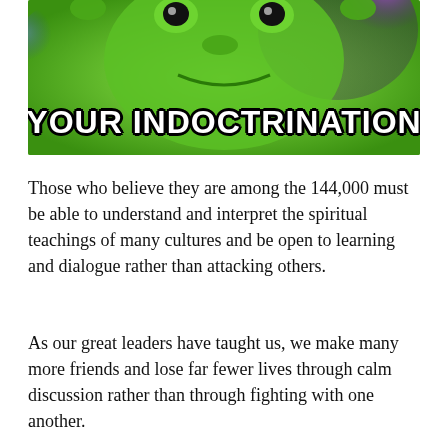[Figure (illustration): A meme-style image with a green cartoon frog character (Kermit) against a colorful background, with large white bold text reading 'YOUR INDOCTRINATION']
Those who believe they are among the 144,000 must be able to understand and interpret the spiritual teachings of many cultures and be open to learning and dialogue rather than attacking others.
As our great leaders have taught us, we make many more friends and lose far fewer lives through calm discussion rather than through fighting with one another.